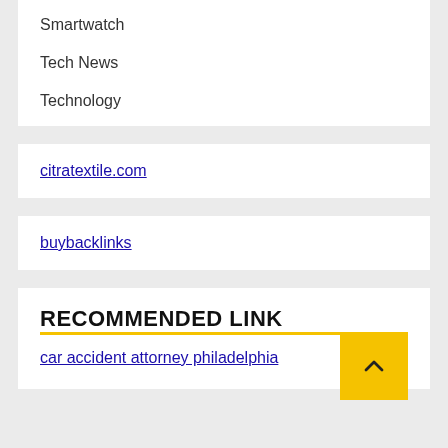Smartwatch
Tech News
Technology
citratextile.com
buybacklinks
RECOMMENDED LINK
car accident attorney philadelphia